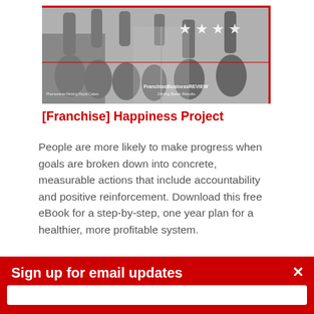[Figure (photo): Black and white photo of a group of people celebrating with arms raised in front of a storefront. Stars visible in upper right. Text overlay: 'FranchiseBusinessREVIEW Driving Better Results' and small caption at lower left.]
[Franchise] Happiness Project
People are more likely to make progress when goals are broken down into concrete, measurable actions that include accountability and positive reinforcement. Download this free eBook for a step-by-step, one year plan for a healthier, more profitable system.
Sign up for email updates